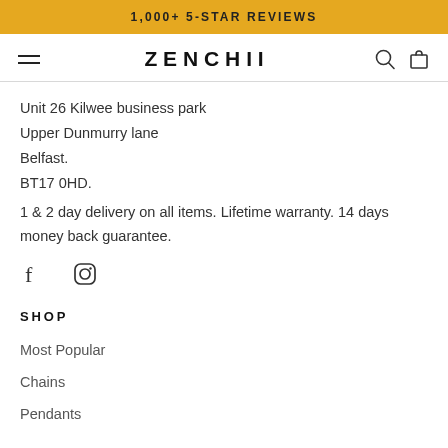1,000+ 5-STAR REVIEWS
[Figure (logo): Zenchii logo with hamburger menu, search icon, and bag icon in navbar]
Unit 26 Kilwee business park
Upper Dunmurry lane
Belfast.
BT17 0HD.
1 & 2 day delivery on all items. Lifetime warranty. 14 days money back guarantee.
[Figure (other): Facebook and Instagram social media icons]
SHOP
Most Popular
Chains
Pendants